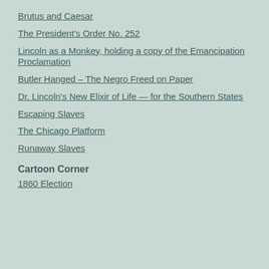Brutus and Caesar
The President's Order No. 252
Lincoln as a Monkey, holding a copy of the Emancipation Proclamation
Butler Hanged – The Negro Freed on Paper
Dr. Lincoln's New Elixir of Life — for the Southern States
Escaping Slaves
The Chicago Platform
Runaway Slaves
Cartoon Corner
1860 Election